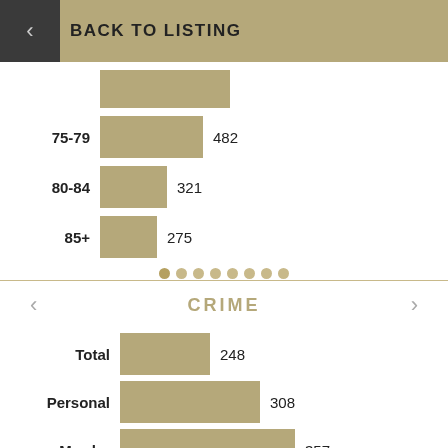< BACK TO LISTING
[Figure (bar-chart): Age groups (partial)]
CRIME
[Figure (bar-chart): CRIME]